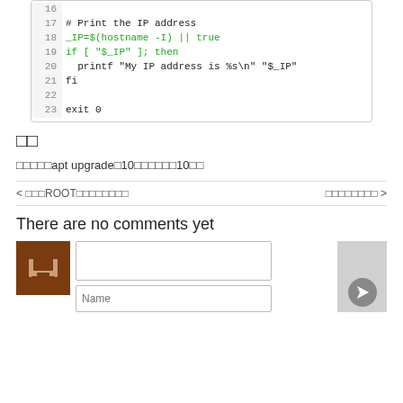[Figure (screenshot): Code block showing shell script lines 16-23 with line numbers, including hostname command in green, IP address check, printf statement, and exit 0]
□□
□□□□□apt upgrade□10□□□□□□10□□
< □□□ROOT□□□□□□□□    □□□□□□□□ >
There are no comments yet
[Figure (other): Comment form with avatar icon, text input fields for comment and name, and submit button area]